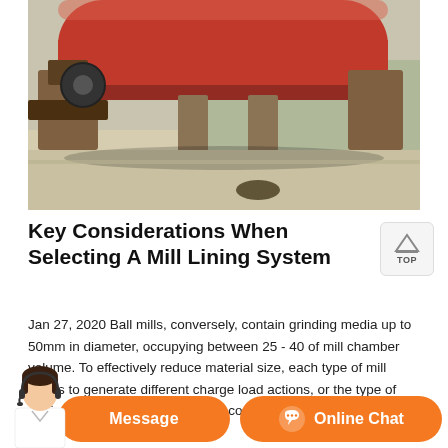[Figure (photo): Industrial ball mill machinery with large red cylindrical drum and mechanical components, photographed outdoors on a concrete surface.]
Key Considerations When Selecting A Mill Lining System
Jan 27, 2020 Ball mills, conversely, contain grinding media up to 50mm in diameter, occupying between 25 - 40 of mill chamber volume. To effectively reduce material size, each type of mill needs to generate different charge load actions, or the type of motion characterised by the mills contents.